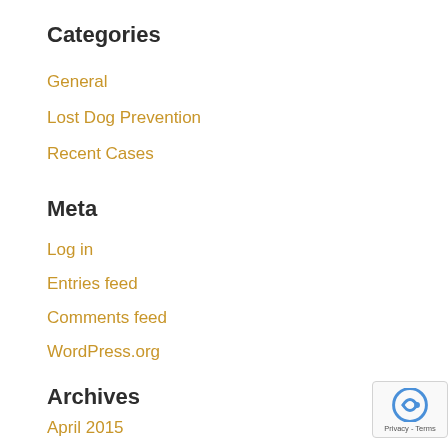Categories
General
Lost Dog Prevention
Recent Cases
Meta
Log in
Entries feed
Comments feed
WordPress.org
Archives
April 2015
March 2015
January 2015